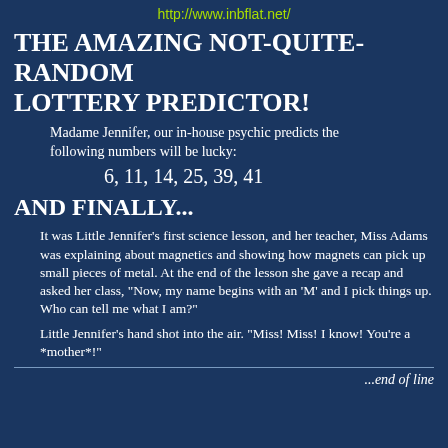http://www.inbflat.net/
THE AMAZING NOT-QUITE-RANDOM LOTTERY PREDICTOR!
Madame Jennifer, our in-house psychic predicts the following numbers will be lucky:
6, 11, 14, 25, 39, 41
AND FINALLY...
It was Little Jennifer's first science lesson, and her teacher, Miss Adams was explaining about magnetics and showing how magnets can pick up small pieces of metal. At the end of the lesson she gave a recap and asked her class, "Now, my name begins with an 'M' and I pick things up. Who can tell me what I am?"
Little Jennifer's hand shot into the air. "Miss! Miss! I know! You're a *mother*!"
...end of line